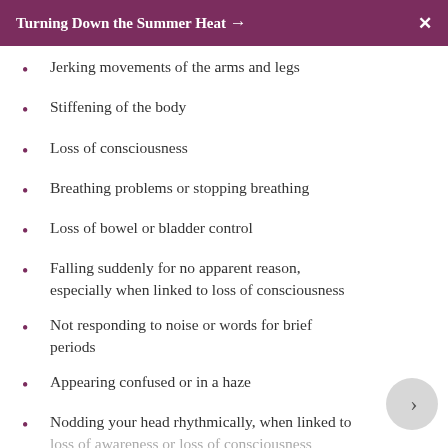Turning Down the Summer Heat →  X
Jerking movements of the arms and legs
Stiffening of the body
Loss of consciousness
Breathing problems or stopping breathing
Loss of bowel or bladder control
Falling suddenly for no apparent reason, especially when linked to loss of consciousness
Not responding to noise or words for brief periods
Appearing confused or in a haze
Nodding your head rhythmically, when linked to loss of awareness or loss of consciousness